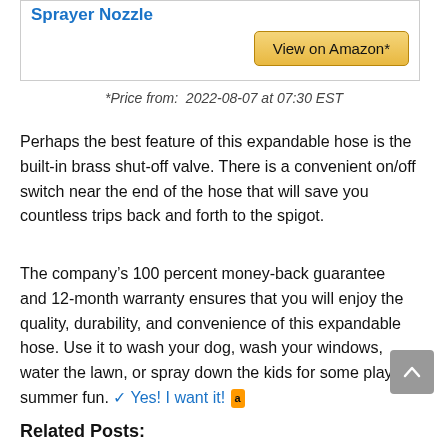Sprayer Nozzle
View on Amazon*
*Price from:  2022-08-07 at 07:30 EST
Perhaps the best feature of this expandable hose is the built-in brass shut-off valve. There is a convenient on/off switch near the end of the hose that will save you countless trips back and forth to the spigot.
The company’s 100 percent money-back guarantee and 12-month warranty ensures that you will enjoy the quality, durability, and convenience of this expandable hose. Use it to wash your dog, wash your windows, water the lawn, or spray down the kids for some playful summer fun. ✔ Yes! I want it!
Related Posts: